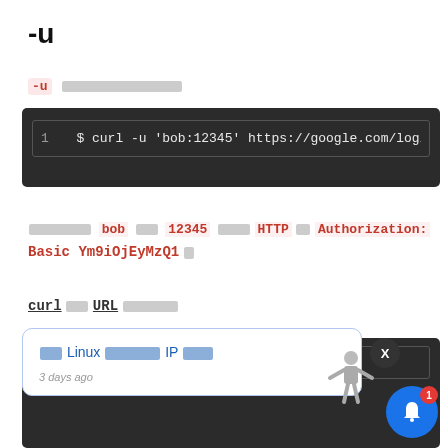-u
-u [Thai placeholder text]
[Figure (screenshot): Dark terminal code block showing: 1   $ curl -u 'bob:12345' https://google.com/login]
[Thai] bob [Thai] 12345 [Thai] HTTP [Thai] Authorization: Basic Ym9iOjEyMzQ1 [Thai]
curl [Thai] URL [Thai]
[Figure (screenshot): Tooltip popup showing: [Thai] Linux [Thai] IP [Thai] | 3 days ago. With X close button and avatar figure. Notification bell with badge 1.]